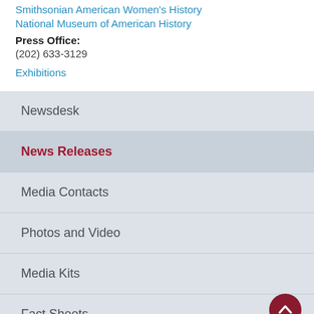Smithsonian American Women's History
National Museum of American History
Press Office:
(202) 633-3129
Exhibitions
Newsdesk
News Releases
Media Contacts
Photos and Video
Media Kits
Fact Sheets